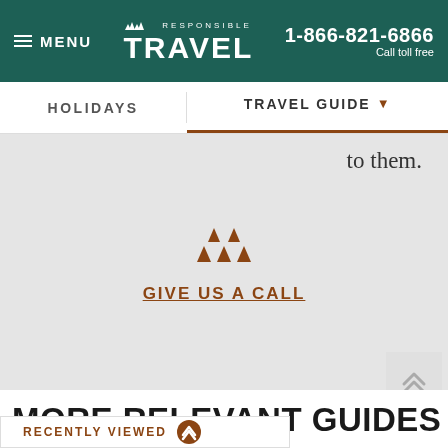MENU | RESPONSIBLE TRAVEL | 1-866-821-6866 Call toll free
HOLIDAYS | TRAVEL GUIDE
to them.
[Figure (logo): Responsible Travel tree logo icon (three triangle trees)]
GIVE US A CALL
[Figure (other): Scroll to top double chevron up arrow button]
MORE RELEVANT GUIDES
RECENTLY VIEWED